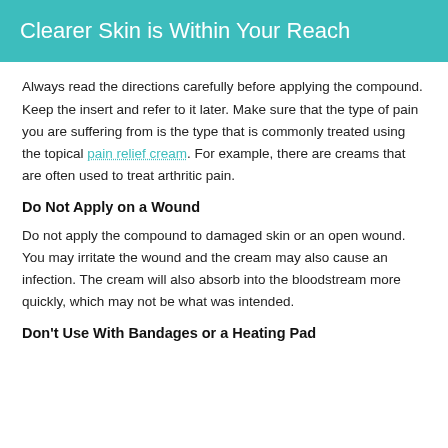Clearer Skin is Within Your Reach
Always read the directions carefully before applying the compound. Keep the insert and refer to it later. Make sure that the type of pain you are suffering from is the type that is commonly treated using the topical pain relief cream. For example, there are creams that are often used to treat arthritic pain.
Do Not Apply on a Wound
Do not apply the compound to damaged skin or an open wound. You may irritate the wound and the cream may also cause an infection. The cream will also absorb into the bloodstream more quickly, which may not be what was intended.
Don't Use With Bandages or a Heating Pad